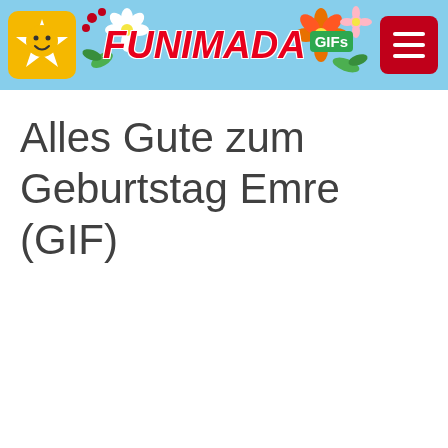FUNIMADA GIFs
Alles Gute zum Geburtstag Emre (GIF)